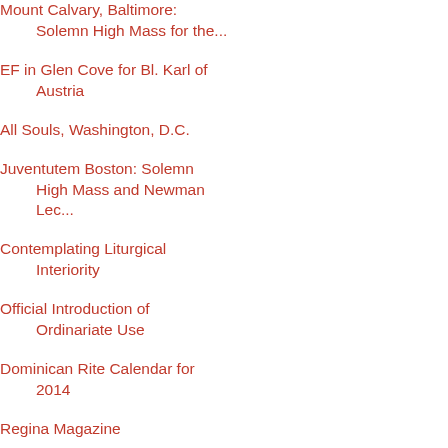Mount Calvary, Baltimore: Solemn High Mass for the...
EF in Glen Cove for Bl. Karl of Austria
All Souls, Washington, D.C.
Juventutem Boston: Solemn High Mass and Newman Lec...
Contemplating Liturgical Interiority
Official Introduction of Ordinariate Use
Dominican Rite Calendar for 2014
Regina Magazine
Events at St Anne's, Fall River MA
Penance According to the Dominican Rite